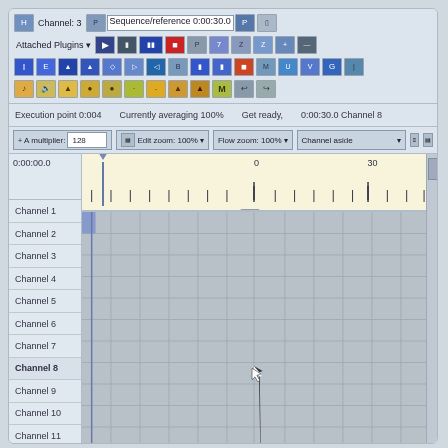[Figure (screenshot): MIDI/audio sequencer software interface showing toolbar rows with icons, status bar displaying 'Execution point 0:004', 'Currently averaging 100%', 'Get ready', '0:00:30.0 Channel 8', a controls bar with zoom and channel controls, a timeline ruler with tick marks at positions 0 and 30, and a grid of 12 channels (Channel 1 through Channel 12+) with gray empty cells and a mouse cursor visible on Channel 8 row.]